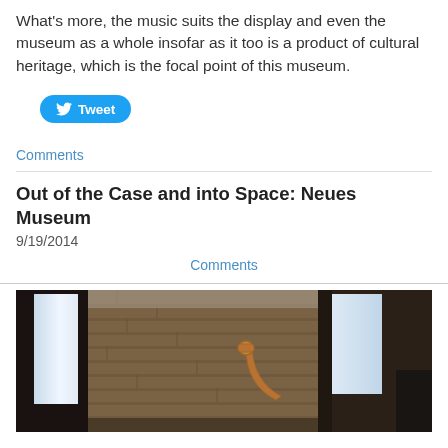What's more, the music suits the display and even the museum as a whole insofar as it too is a product of cultural heritage, which is the focal point of this museum.
[Figure (screenshot): Tweet button with Twitter bird icon]
Comments
Out of the Case and into Space: Neues Museum
9/19/2014
Comments
[Figure (photo): Interior museum photo showing brick walls, arched windows with bright light, and a curved bronze/copper object mounted on the wall]